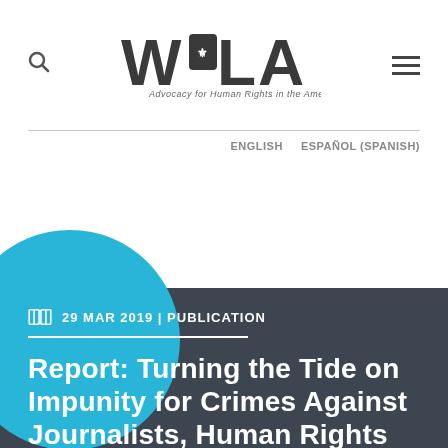[Figure (logo): WOLA logo with text 'Advocacy for Human Rights in the Americas']
ENGLISH   ESPAÑOL (SPANISH)
29 MAR 2019 | PUBLICATION
Report: Turning the Tide on Impunity for Crimes Against Journalists, Human Rights